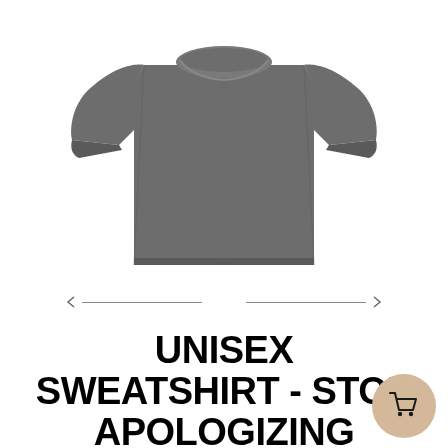[Figure (illustration): A grey unisex crewneck sweatshirt photographed on white background, shown from the front, no print or graphics visible]
[Figure (other): Navigation arrows: left arrow with line on the left, right arrow with line on the right, used for image carousel navigation]
UNISEX SWEATSHIRT - STOP APOLOGIZING FEMINISM FEMALE EMPOWERMENT LGBTQIA+
[Figure (other): Beige/tan circular shopping cart button with a dark cart icon, positioned bottom-right]